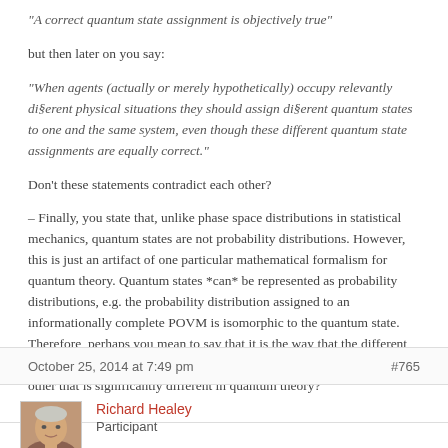“A correct quantum state assignment is objectively true”
but then later on you say:
“When agents (actually or merely hypothetically) occupy relevantly di§erent physical situations they should assign di§erent quantum states to one and the same system, even though these different quantum state assignments are equally correct.”
Don’t these statements contradict each other?
– Finally, you state that, unlike phase space distributions in statistical mechanics, quantum states are not probability distributions. However, this is just an artifact of one particular mathematical formalism for quantum theory. Quantum states *can* be represented as probability distributions, e.g. the probability distribution assigned to an informationally complete POVM is isomorphic to the quantum state. Therefore, perhaps you mean to say that it is the way that the different probability distributions for different magnitudes are related to each other that is significantly different in quantum theory?
October 25, 2014 at 7:49 pm   #765
Richard Healey
Participant